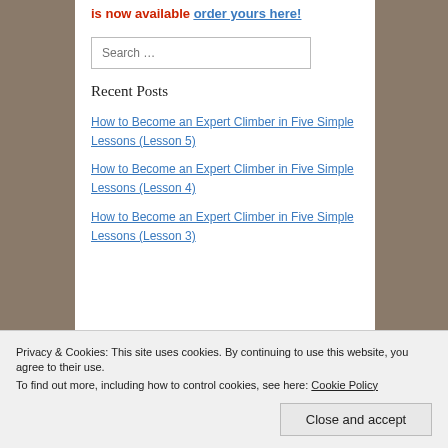is now available order yours here!
Search …
Recent Posts
How to Become an Expert Climber in Five Simple Lessons (Lesson 5)
How to Become an Expert Climber in Five Simple Lessons (Lesson 4)
How to Become an Expert Climber in Five Simple Lessons (Lesson 3)
Privacy & Cookies: This site uses cookies. By continuing to use this website, you agree to their use. To find out more, including how to control cookies, see here: Cookie Policy
Close and accept